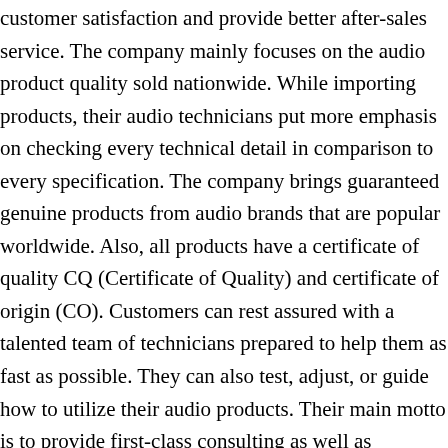customer satisfaction and provide better after-sales service. The company mainly focuses on the audio product quality sold nationwide. While importing products, their audio technicians put more emphasis on checking every technical detail in comparison to every specification. The company brings guaranteed genuine products from audio brands that are popular worldwide. Also, all products have a certificate of quality CQ (Certificate of Quality) and certificate of origin (CO). Customers can rest assured with a talented team of technicians prepared to help them as fast as possible. They can also test, adjust, or guide how to utilize their audio products. Their main motto is to provide first-class consulting as well as designing professional stage